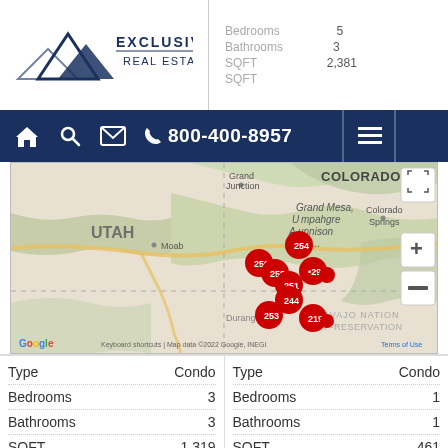[Figure (logo): Exclusively Real Estate logo with mountain icon]
Bathrooms 3
SQFT 2,381
800-400-8957
[Figure (map): Google Maps view showing Colorado/Utah region with red property markers near Durango/Grand Junction area. Markers labeled 254, 259, 258, 251, 244, 253, 219, 29. Labels: UTAH, COLORADO, Moab, Grand Junction, Grand Mesa Uncompahgre Gunnison National, Colorado Springs, NAVAJO NATION OFF-RESERVATION]
| Type | Condo | Type | Condo |
| --- | --- | --- | --- |
| Bedrooms | 3 | Bedrooms | 1 |
| Bathrooms | 3 | Bathrooms | 1 |
| SQFT | 1,319 | SQFT | 461 |
[Figure (photo): Interior room photo with ceiling fan, Telluride IDX logo watermark]
[Figure (photo): Interior room photo with ceiling fan, Telluride IDX logo watermark]